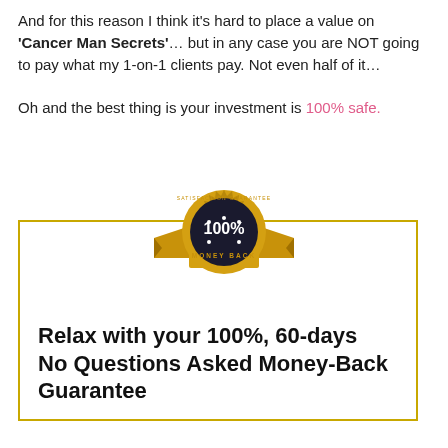And for this reason I think it's hard to place a value on 'Cancer Man Secrets'… but in any case you are NOT going to pay what my 1-on-1 clients pay. Not even half of it…

Oh and the best thing is your investment is 100% safe.
[Figure (illustration): Gold 100% Money Back Satisfaction Guarantee badge/seal with ribbon]
Relax with your 100%, 60-days
No Questions Asked Money-Back Guarantee